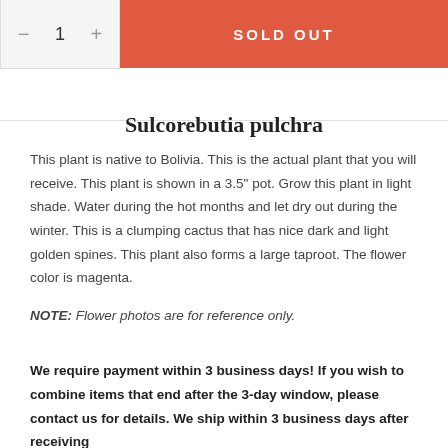[Figure (other): Quantity selector showing minus button, 1, plus button, next to a red SOLD OUT button]
Sulcorebutia pulchra
This plant is native to Bolivia. This is the actual plant that you will receive. This plant is shown in a 3.5" pot. Grow this plant in light shade. Water during the hot months and let dry out during the winter. This is a clumping cactus that has nice dark and light golden spines. This plant also forms a large taproot. The flower color is magenta.
NOTE: Flower photos are for reference only.
We require payment within 3 business days! If you wish to combine items that end after the 3-day window, please contact us for details. We ship within 3 business days after receiving payment.